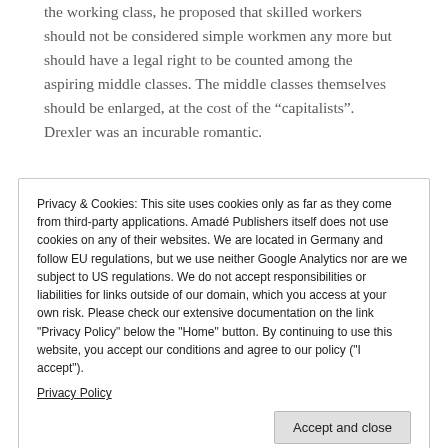the working class, he proposed that skilled workers should not be considered simple workmen any more but should have a legal right to be counted among the aspiring middle classes. The middle classes themselves should be enlarged, at the cost of the “capitalists”. Drexler was an incurable romantic.
Privacy & Cookies: This site uses cookies only as far as they come from third-party applications. Amadé Publishers itself does not use cookies on any of their websites. We are located in Germany and follow EU regulations, but we use neither Google Analytics nor are we subject to US regulations. We do not accept responsibilities or liabilities for links outside of our domain, which you access at your own risk. Please check our extensive documentation on the link "Privacy Policy" below the "Home" button. By continuing to use this website, you accept our conditions and agree to our policy ("I accept").
Privacy Policy
Accept and close